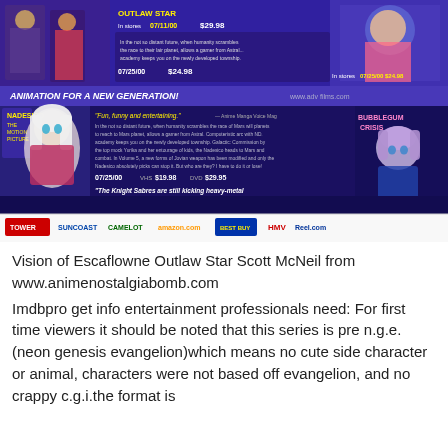[Figure (photo): Anime advertisement banner for Nadesico and Bubblegum Crisis/Knight Sabers VHS/DVD releases. Purple background with anime character artwork, pricing information (07/11/00 $29.98, 07/25/00 $24.98, 07/25/00 $19.98/$29.95, 07/11/00 $19.98/$29.95), tagline 'ANIMATION FOR A NEW GENERATION!', and retailer logos at bottom (Tower, Suncoast, Camelot, amazon.com, Best Buy, HMV, Reel.com)]
Vision of Escaflowne Outlaw Star Scott McNeil from www.animenostalgiabomb.com
Imdbpro get info entertainment professionals need: For first time viewers it should be noted that this series is pre n.g.e.(neon genesis evangelion)which means no cute side character or animal, characters were not based off evangelion, and no crappy c.g.i.the format is